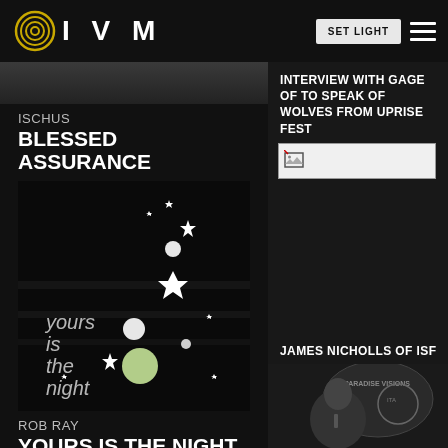IVM — SET LIGHT (header navigation)
ISCHUS
BLESSED ASSURANCE
[Figure (illustration): Album art with dark background, white stars and glowing orbs, text reading 'yours is the night']
ROB RAY
YOURS IS THE NIGHT
INTERVIEW WITH GAGE OF TO SPEAK OF WOLVES FROM UPRISE FEST
[Figure (photo): Broken image placeholder]
JAMES NICHOLLS OF ISF
[Figure (photo): Photo of a performer on stage at a venue with signage in background]